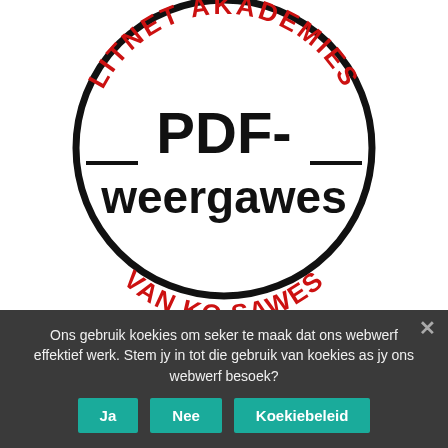[Figure (logo): Circular stamp/logo for LitNet Akademies PDF-weergawes. Black circle outline on white background. Red curved text at top reads 'LITNET AKADEMIES', red curved text at bottom reads 'VAN KO...SAWES'. Center has large bold black text 'PDF-weergawes' with horizontal dashes on either side.]
Ons gebruik koekies om seker te maak dat ons webwerf effektief werk. Stem jy in tot die gebruik van koekies as jy ons webwerf besoek?